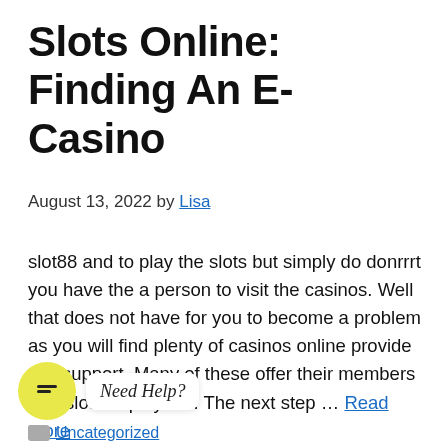Slots Online: Finding An E-Casino
August 13, 2022 by Lisa
slot88 and to play the slots but simply do donrrrt you have the a person to visit the casinos. Well that does not have for you to become a problem as you will find plenty of casinos online provide this support. Many of these offer their members free slots to play too. The next step … Read more
Need Help?
Uncategorized